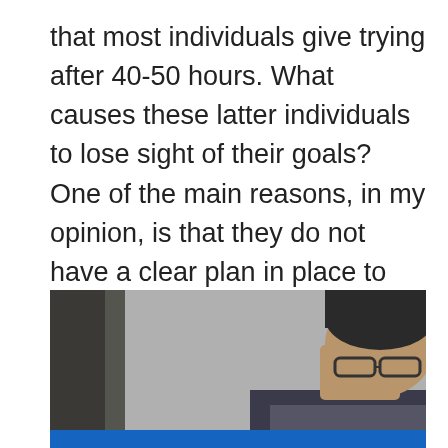that most individuals give trying after 40-50 hours. What causes these latter individuals to lose sight of their goals? One of the main reasons, in my opinion, is that they do not have a clear plan in place to assist them to stay focused and motivated. So, based on how some of my clients have successfully completed their job searches, here are a few pointers.
[Figure (photo): A man with short dark hair and glasses, wearing a dark top, photographed from the side/slightly behind, with a gray and dark background. A blue bar appears at the bottom of the image.]